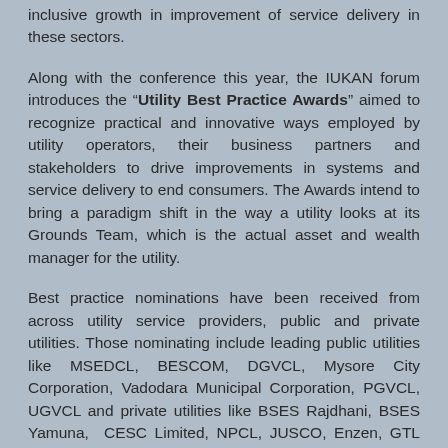inclusive growth in improvement of service delivery in these sectors.
Along with the conference this year, the IUKAN forum introduces the "Utility Best Practice Awards" aimed to recognize practical and innovative ways employed by utility operators, their business partners and stakeholders to drive improvements in systems and service delivery to end consumers. The Awards intend to bring a paradigm shift in the way a utility looks at its Grounds Team, which is the actual asset and wealth manager for the utility.
Best practice nominations have been received from across utility service providers, public and private utilities. Those nominating include leading public utilities like MSEDCL, BESCOM, DGVCL, Mysore City Corporation, Vadodara Municipal Corporation, PGVCL, UGVCL and private utilities like BSES Rajdhani, BSES Yamuna, CESC Limited, NPCL, JUSCO, Enzen, GTL Limited, MVV Water Utility Private Ltd., Tata Power Company Ltd, Tata Power Delhi Distribution Ltd, Reliance Infrastructure Ltd, WESCO, Orange City Water. Service providers ecosystem also actively responded to the